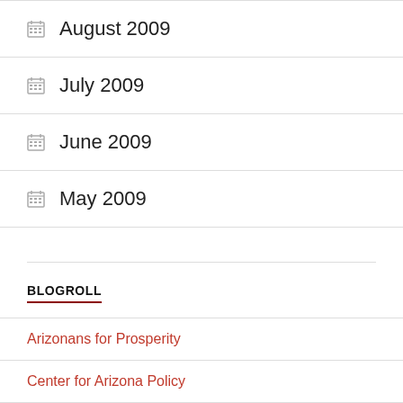August 2009
July 2009
June 2009
May 2009
BLOGROLL
Arizonans for Prosperity
Center for Arizona Policy